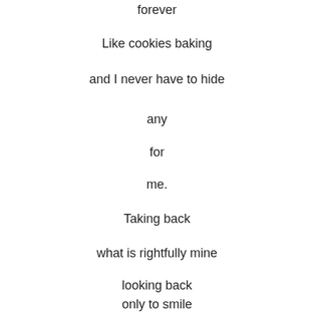forever
Like cookies baking
and I never have to hide
any
for
me.
Taking back
what is rightfully mine
looking back
only to smile